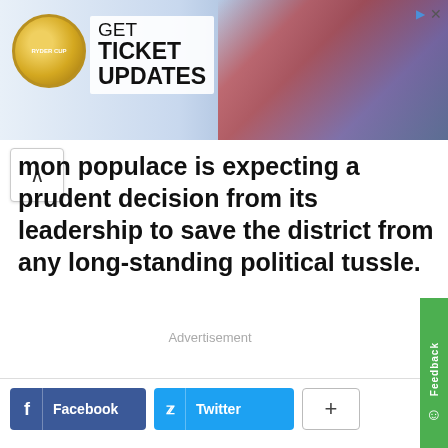[Figure (photo): Ryder Cup advertisement banner with logo, 'GET TICKET UPDATES' text, and golfers photo]
mon populace is expecting a prudent decision from its leadership to save the district from any long-standing political tussle.
Advertisement
[Figure (other): Facebook share button]
[Figure (other): Twitter share button]
[Figure (other): More share options button]
Previous article
Scholars at Pak-Iran forum emphasise need for tangible steps to improve bilateral
Next article
Revolt against rulers only option left for people: PTI